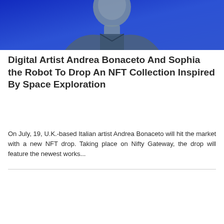[Figure (photo): Photograph of a man against a blue background, wearing a denim shirt, partially cropped showing head and upper torso]
Digital Artist Andrea Bonaceto And Sophia the Robot To Drop An NFT Collection Inspired By Space Exploration
On July, 19, U.K.-based Italian artist Andrea Bonaceto will hit the market with a new NFT drop. Taking place on Nifty Gateway, the drop will feature the newest works...